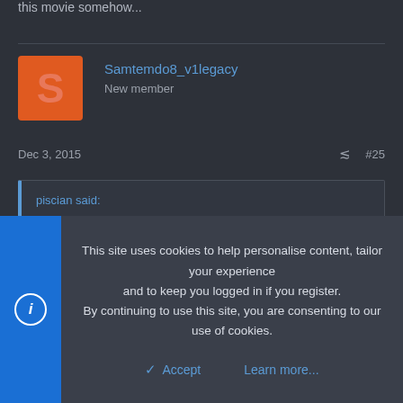this movie somehow...
Samtemdo8_v1legacy
New member
Dec 3, 2015  #25
piscian said:
Idk man I thought the civil war trailer was pretty amazing it managed to hit me in the feels. Every where I've checked fanboys or no the agreement in the Civil war trailer was crazy good, this BVS trailer is just making everyone angry.
This site uses cookies to help personalise content, tailor your experience and to keep you logged in if you register.
By continuing to use this site, you are consenting to our use of cookies.
Accept  Learn more...